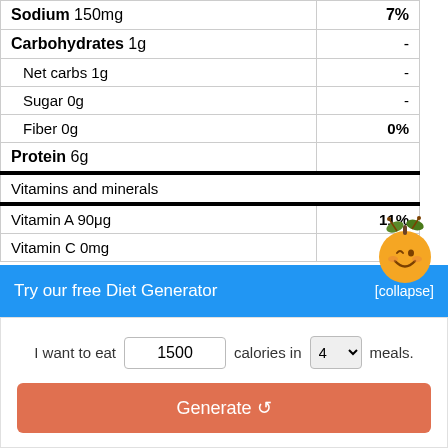| Nutrient | Value | % DV |
| --- | --- | --- |
| Sodium 150mg |  | 7% |
| Carbohydrates 1g |  | - |
| Net carbs 1g |  | - |
| Sugar 0g |  | - |
| Fiber 0g |  | 0% |
| Protein 6g |  |  |
| Vitamins and minerals |  |  |
| Vitamin A 90μg |  | 11% |
| Vitamin C 0mg |  | 0% |
Try our free Diet Generator
[collapse]
I want to eat 1500 calories in 4 meals.
Generate